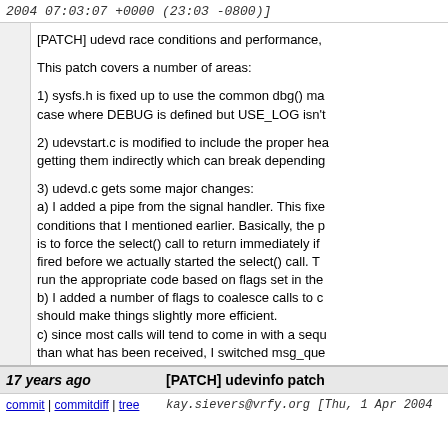2004 07:03:07 +0000 (23:03 -0800)]
[PATCH] udevd race conditions and performance,

This patch covers a number of areas:

1) sysfs.h is fixed up to use the common dbg() ma case where DEBUG is defined but USE_LOG isn't

2) udevstart.c is modified to include the proper hea getting them indirectly which can break depending

3) udevd.c gets some major changes:
a) I added a pipe from the signal handler. This fixe conditions that I mentioned earlier. Basically, the p is to force the select() call to return immediately if fired before we actually started the select() call. T run the appropriate code based on flags set in the
b) I added a number of flags to coalesce calls to c should make things slightly more efficient.
c) since most calls will tend to come in with a sequ than what has been received, I switched msg_que msg_list backwards to improve performance.

filename="udevd.diff"
17 years ago
[PATCH] udevinfo patch
commit | commitdiff | tree
kay.sievers@vrfy.org [Thu, 1 Apr 2004